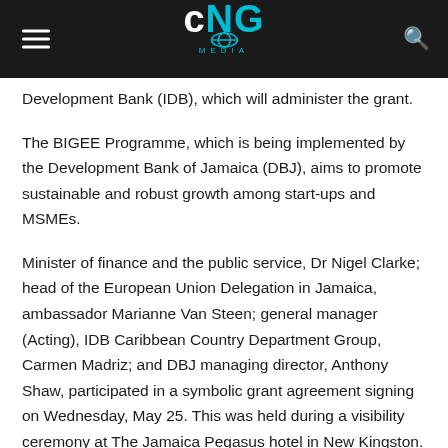CNG MEDIA
Development Bank (IDB), which will administer the grant.
The BIGEE Programme, which is being implemented by the Development Bank of Jamaica (DBJ), aims to promote sustainable and robust growth among start-ups and MSMEs.
Minister of finance and the public service, Dr Nigel Clarke; head of the European Union Delegation in Jamaica, ambassador Marianne Van Steen; general manager (Acting), IDB Caribbean Country Department Group, Carmen Madriz; and DBJ managing director, Anthony Shaw, participated in a symbolic grant agreement signing on Wednesday, May 25. This was held during a visibility ceremony at The Jamaica Pegasus hotel in New Kingston.
Dr Clarke, who conveyed the Government's gratitude for the